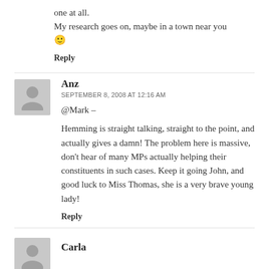one at all.
My research goes on, maybe in a town near you 🙂
Reply
Anz
SEPTEMBER 8, 2008 AT 12:16 AM
@Mark –
Hemming is straight talking, straight to the point, and actually gives a damn! The problem here is massive, don't hear of many MPs actually helping their constituents in such cases. Keep it going John, and good luck to Miss Thomas, she is a very brave young lady!
Reply
Carla